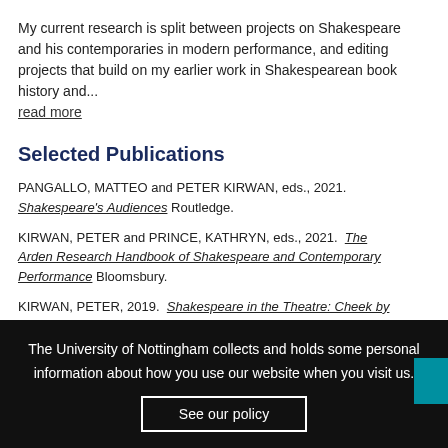My current research is split between projects on Shakespeare and his contemporaries in modern performance, and editing projects that build on my earlier work in Shakespearean book history and... read more
Selected Publications
PANGALLO, MATTEO and PETER KIRWAN, eds., 2021. Shakespeare's Audiences Routledge.
KIRWAN, PETER and PRINCE, KATHRYN, eds., 2021. The Arden Research Handbook of Shakespeare and Contemporary Performance Bloomsbury.
KIRWAN, PETER, 2019. Shakespeare in the Theatre: Cheek by Jowl. Bloomsbury.
DEPLEDGE, EMMA and PETER KIRWAN, eds., 2017. Canonising Shakespeare: Stationers and the Book Trade, 1640-1740. Cambridge
The University of Nottingham collects and holds some personal information about how you use our website when you visit us.
See our policy